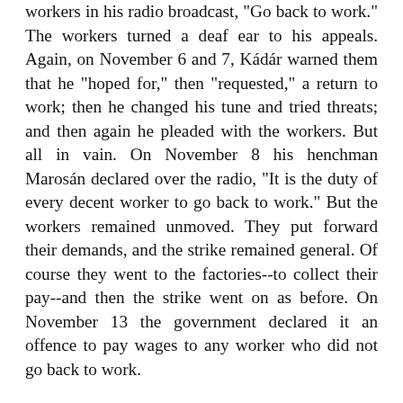workers in his radio broadcast, "Go back to work." The workers turned a deaf ear to his appeals. Again, on November 6 and 7, Kádár warned them that he "hoped for," then "requested," a return to work; then he changed his tune and tried threats; and then again he pleaded with the workers. But all in vain. On November 8 his henchman Marosán declared over the radio, "It is the duty of every decent worker to go back to work." But the workers remained unmoved. They put forward their demands, and the strike remained general. Of course they went to the factories--to collect their pay--and then the strike went on as before. On November 13 the government declared it an offence to pay wages to any worker who did not go back to work.
(From different points of view, the workers and Kádár were concerned with political consolidation. The workers demanded the withdrawal of the Russian troops and the reinstallation to power of Imre Nagy. Kádár could not hope to be secure until the strike had